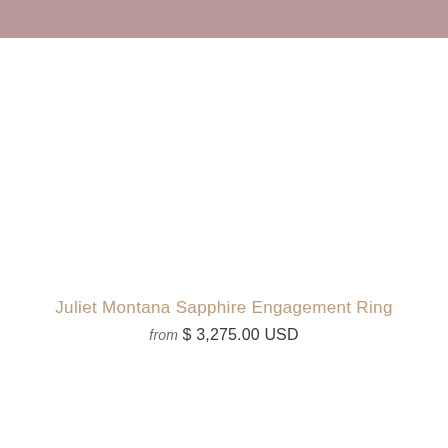Juliet Montana Sapphire Engagement Ring
from $ 3,275.00 USD